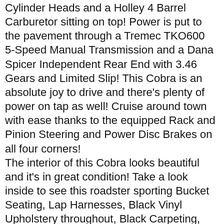Cylinder Heads and a Holley 4 Barrel Carburetor sitting on top! Power is put to the pavement through a Tremec TKO600 5-Speed Manual Transmission and a Dana Spicer Independent Rear End with 3.46 Gears and Limited Slip! This Cobra is an absolute joy to drive and there's plenty of power on tap as well! Cruise around town with ease thanks to the equipped Rack and Pinion Steering and Power Disc Brakes on all four corners!
The interior of this Cobra looks beautiful and it's in great condition! Take a look inside to see this roadster sporting Bucket Seating, Lap Harnesses, Black Vinyl Upholstery throughout, Black Carpeting, Wood and Polished Aluminum 3-Point Steering Wheel, beautiful Dashboard with Smiths Gauges, Floor Mats, along with plenty of room in the Carpeted Trunk for all of your car show essentials! The underside of this '65 looks incredible like the rest of the car! Take a look underneath to see the nice condition of the Frame, Floors, Fuel Tank, Fuel and Brake Lines, Disc Brakes all around, Rear End, Driveshaft, Tremec Transmission, Explosion-Proof Bellhousing, Hydraulic Clutch, Engine Oil Pan, Rack and Pinion Steering, Independent Front and Rear Suspension, Front and Rear Sway Bars, along with the Ceramic Coated Exhaust Headers.